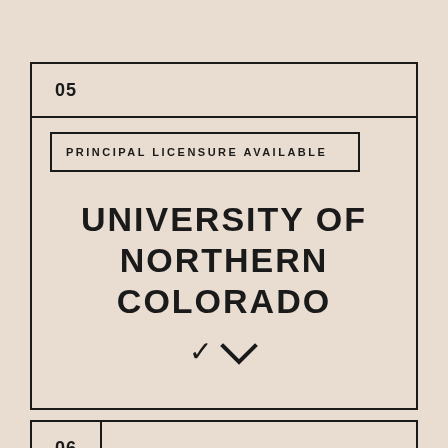05
PRINCIPAL LICENSURE AVAILABLE
UNIVERSITY OF NORTHERN COLORADO
06